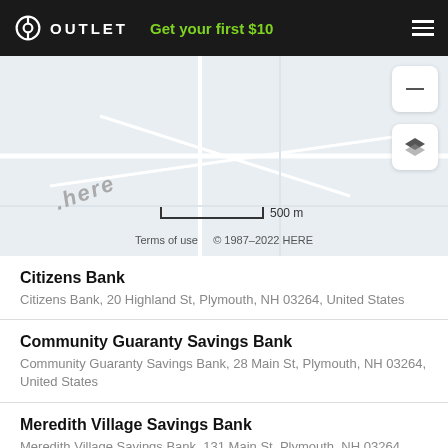OUTLET  Get your first $10
[Figure (map): Map view showing Plymouth, NH area with HERE watermark, scale bar (500 m), zoom minus button, and layer selector button. Terms of use and © 1987–2022 HERE shown at bottom.]
Citizens Bank
Citizens Bank, 20 Highland St, Plymouth, NH 03264, United States
Community Guaranty Savings Bank
Community Guaranty Savings Bank, 28 Main St, Plymouth, NH 03264, United States
Meredith Village Savings Bank
Meredith Village Savings Bank, 131 Main St, Plymouth, NH 03264, United States
Meredith Village Savings Bank
Meredith Village Savings Bank, 390…